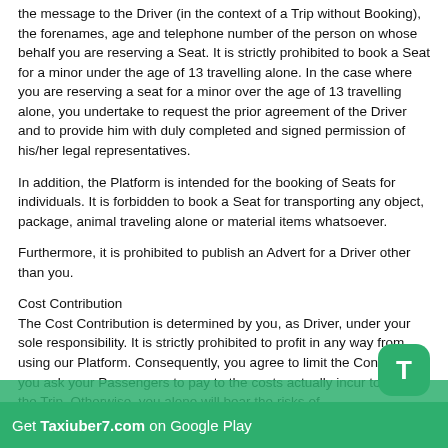the message to the Driver (in the context of a Trip without Booking), the forenames, age and telephone number of the person on whose behalf you are reserving a Seat. It is strictly prohibited to book a Seat for a minor under the age of 13 travelling alone. In the case where you are reserving a seat for a minor over the age of 13 travelling alone, you undertake to request the prior agreement of the Driver and to provide him with duly completed and signed permission of his/her legal representatives.
In addition, the Platform is intended for the booking of Seats for individuals. It is forbidden to book a Seat for transporting any object, package, animal traveling alone or material items whatsoever.
Furthermore, it is prohibited to publish an Advert for a Driver other than you.
Cost Contribution
The Cost Contribution is determined by you, as Driver, under your sole responsibility. It is strictly prohibited to profit in any way from using our Platform. Consequently, you agree to limit the Cost Contribution you ask your Passengers to pay to the costs you actually incur to make the Trip. Otherwise, you alone will bear the risks of recharacterization of the transaction completed via the Platform.